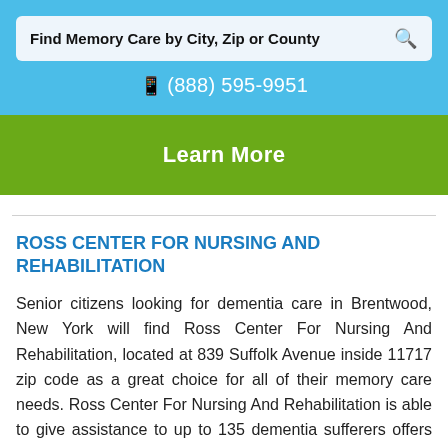Find Memory Care by City, Zip or County
(888) 595-9951
Learn More
ROSS CENTER FOR NURSING AND REHABILITATION
Senior citizens looking for dementia care in Brentwood, New York will find Ross Center For Nursing And Rehabilitation, located at 839 Suffolk Avenue inside 11717 zip code as a great choice for all of their memory care needs. Ross Center For Nursing And Rehabilitation is able to give assistance to up to 135 dementia sufferers offers seniors custom meal